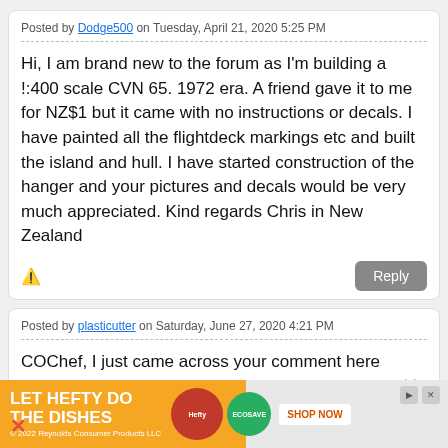Posted by Dodge500 on Tuesday, April 21, 2020 5:25 PM
Hi, I am brand new to the forum as I'm building a !:400 scale CVN 65. 1972 era. A friend gave it to me for NZ$1 but it came with no instructions or decals. I have painted all the flightdeck markings etc and built the island and hull. I have started construction of the hanger and your pictures and decals would be very much appreciated. Kind regards Chris in New Zealand
Posted by plasticutter on Saturday, June 27, 2020 4:21 PM
COChef, I just came across your comment here about the Enterprise CVN-65, I too was stationed on the Enterprise
[Figure (infographic): Advertisement banner: LET HEFTY DO THE DISHES with Hefty EcoSave branding, orange background, SHOP NOW button, product images]